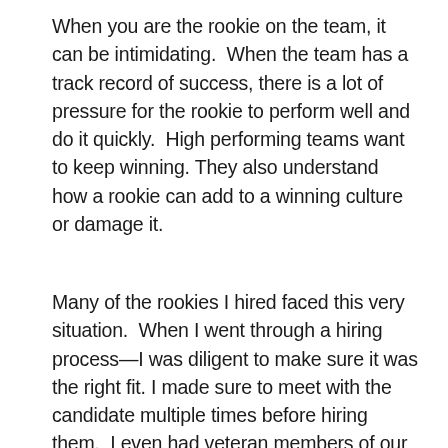When you are the rookie on the team, it can be intimidating.  When the team has a track record of success, there is a lot of pressure for the rookie to perform well and do it quickly.  High performing teams want to keep winning. They also understand how a rookie can add to a winning culture or damage it.
Many of the rookies I hired faced this very situation.  When I went through a hiring process—I was diligent to make sure it was the right fit. I made sure to meet with the candidate multiple times before hiring them.  I even had veteran members of our team spend time with them so I could get insight and feedback from the team on a prospect.